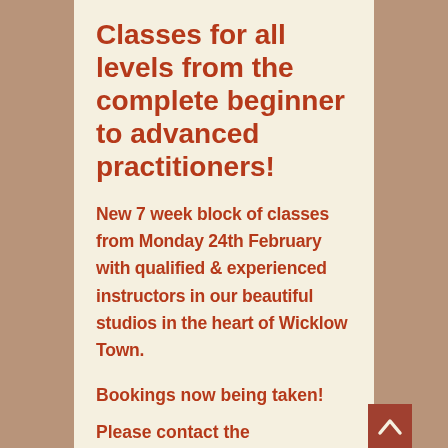Classes for all levels from the complete beginner to advanced practitioners!
New 7 week block of classes from Monday 24th February with qualified & experienced instructors in our beautiful studios in the heart of Wicklow Town.
Bookings now being taken!
Please contact the...